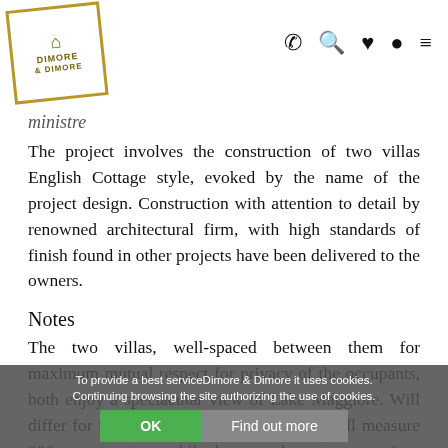Dimore & Dimore logo and navigation icons
ministre
The project involves the construction of two villas English Cottage style, evoked by the name of the project design. Construction with attention to detail by renowned architectural firm, with high standards of finish found in other projects have been delivered to the owners.
Notes
The two villas, well-spaced between them for maximum mutual respect for privacy of the occupants, both enjoy a spectacular view of Lake Maggiore. Will differ for the sizes, in that the first house will measure 280 square meters, while the second count on a surface of 450 square meters in total. Both plots ... st over 1200 square meters and will have pools of 11 x 3.80
To provide a best serviceDimore & Dimore it uses cookies. Continuing browsing the site authorizing the use of cookies.